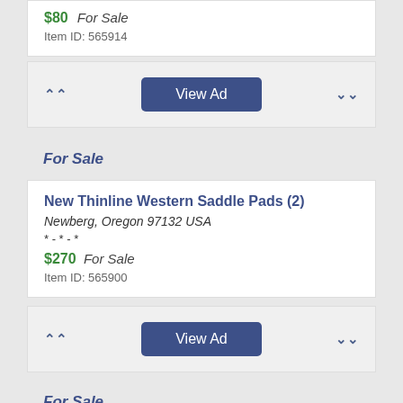$80  For Sale
Item ID: 565914
View Ad
For Sale
New Thinline Western Saddle Pads (2)
Newberg, Oregon 97132 USA
* - * - *
$270  For Sale
Item ID: 565900
View Ad
For Sale